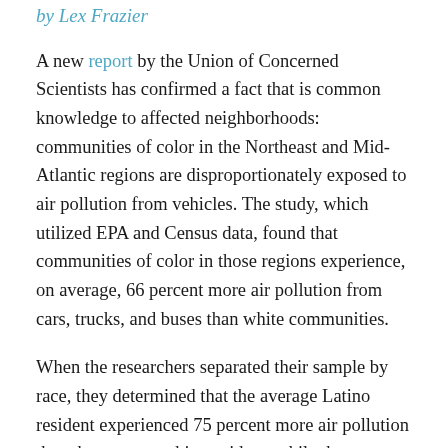by Lex Frazier
A new report by the Union of Concerned Scientists has confirmed a fact that is common knowledge to affected neighborhoods: communities of color in the Northeast and Mid-Atlantic regions are disproportionately exposed to air pollution from vehicles. The study, which utilized EPA and Census data, found that communities of color in those regions experience, on average, 66 percent more air pollution from cars, trucks, and buses than white communities.
When the researchers separated their sample by race, they determined that the average Latino resident experienced 75 percent more air pollution than the average white resident, while the average Asian American resident